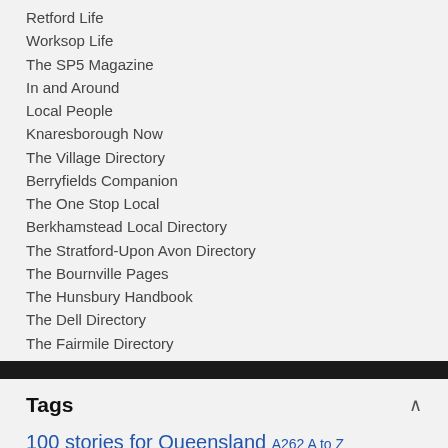Retford Life
Worksop Life
The SP5 Magazine
In and Around
Local People
Knaresborough Now
The Village Directory
Berryfields Companion
The One Stop Local
Berkhamstead Local Directory
The Stratford-Upon Avon Directory
The Bournville Pages
The Hunsbury Handbook
The Dell Directory
The Fairmile Directory
Tags
100 stories for Queensland A262 A to Z